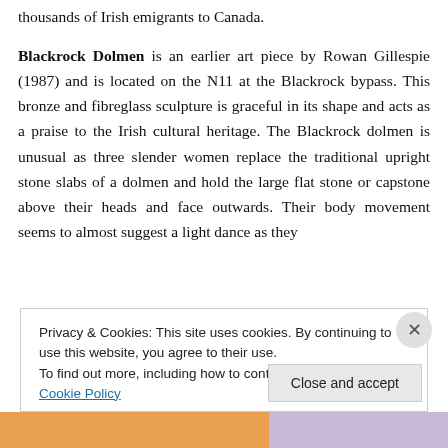thousands of Irish emigrants to Canada.
Blackrock Dolmen is an earlier art piece by Rowan Gillespie (1987) and is located on the N11 at the Blackrock bypass. This bronze and fibreglass sculpture is graceful in its shape and acts as a praise to the Irish cultural heritage. The Blackrock dolmen is unusual as three slender women replace the traditional upright stone slabs of a dolmen and hold the large flat stone or capstone above their heads and face outwards. Their body movement seems to almost suggest a light dance as they
Privacy & Cookies: This site uses cookies. By continuing to use this website, you agree to their use.
To find out more, including how to control cookies, see here: Cookie Policy